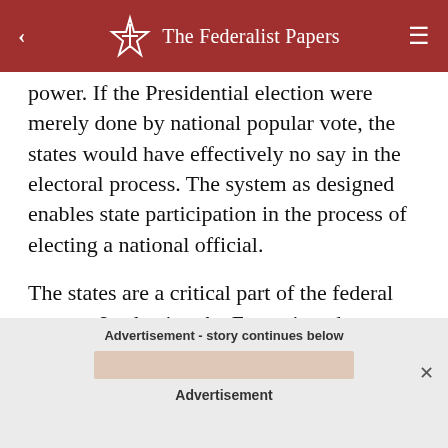The Federalist Papers
power. If the Presidential election were merely done by national popular vote, the states would have effectively no say in the electoral process. The system as designed enables state participation in the process of electing a national official.
The states are a critical part of the federal system. In electing the Executive, they must not be left out of the process (and we already killed their representation in the Senate, so now it is even more important to keep the Electoral College in place).
Advertisement - story continues below
Advertisement